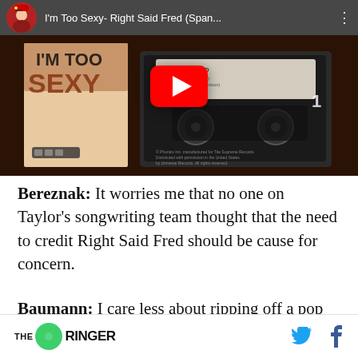[Figure (screenshot): YouTube video thumbnail showing a cassette tape of 'I'm Too Sexy' by Right Said Fred on a wooden surface, with a circular avatar, video title bar at top reading "I'm Too Sexy- Right Said Fred (Span...", a red/white YouTube play button in the center, and a three-dot menu icon.]
Bereznak: It worries me that no one on Taylor’s songwriting team thought that the need to credit Right Said Fred should be cause for concern.
Baumann: I care less about ripping off a pop
THE RINGER